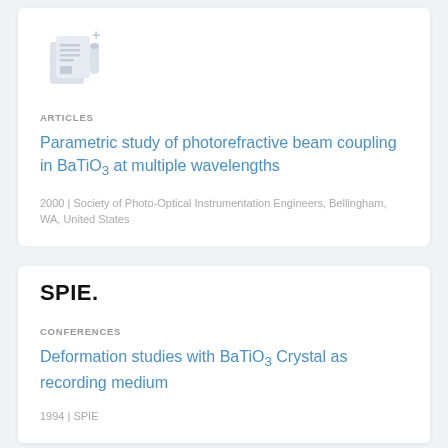[Figure (illustration): Document/article icon with a plus sign, showing stacked pages and a test tube or pen, in light grey]
ARTICLES
Parametric study of photorefractive beam coupling in BaTiO3 at multiple wavelengths
2000 | Society of Photo-Optical Instrumentation Engineers, Bellingham, WA, United States
[Figure (logo): SPIE. logo in bold black text]
CONFERENCES
Deformation studies with BaTiO3 Crystal as recording medium
1994 | SPIE